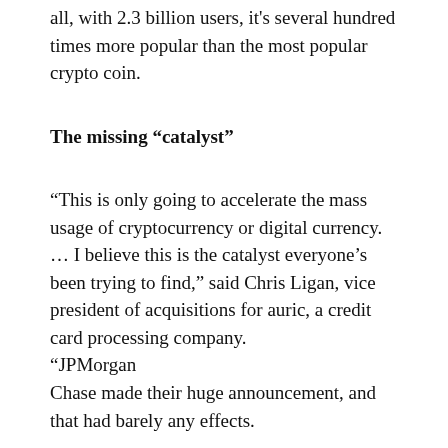all, with 2.3 billion users, it's several hundred times more popular than the most popular crypto coin.
The missing “catalyst”
“This is only going to accelerate the mass usage of cryptocurrency or digital currency. … I believe this is the catalyst everyone’s been trying to find,” said Chris Ligan, vice president of acquisitions for auric, a credit card processing company. “JPMorgan Chase made their huge announcement, and that had barely any effects.
This, this is huge”. Ligan added: “Particularly with Facebook’s marketing announcements… You